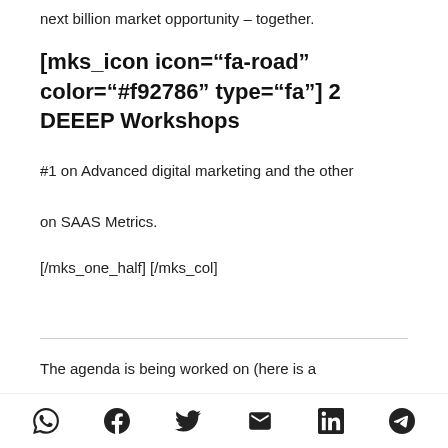next billion market opportunity – together.
[mks_icon icon="fa-road" color="#f92786" type="fa"] 2 DEEEP Workshops
#1 on Advanced digital marketing and the other on SAAS Metrics.
[/mks_one_half] [/mks_col]
The agenda is being worked on (here is a
Social share icons: WhatsApp, Facebook, Twitter, Email, LinkedIn, Telegram